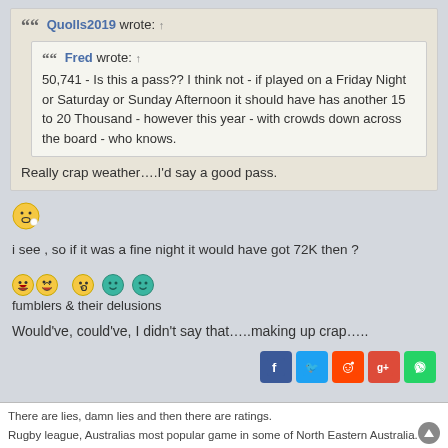Quolls2019 wrote: ↑
Fred wrote: ↑
50,741 - Is this a pass?? I think not - if played on a Friday Night or Saturday or Sunday Afternoon it should have has another 15 to 20 Thousand - however this year - with crowds down across the board - who knows.
Really crap weather….I'd say a good pass.
[Figure (illustration): Thinking/whistling emoji]
i see , so if it was a fine night it would have got 72K then ?
[Figure (illustration): Row of emoji: laughing, laughing, whistling, teal smiley, teal smiley]
fumblers & their delusions
Would've, could've, I didn't say that…..making up crap…..
[Figure (illustration): Social share icons: Facebook, Twitter, Reddit, Google+, WhatsApp]
There are lies, damn lies and then there are ratings.
Rugby league, Australias most popular game in some of North Eastern Australia.